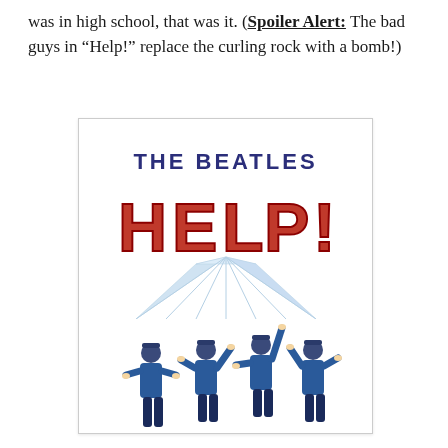was in high school, that was it. (Spoiler Alert: The bad guys in “Help!” replace the curling rock with a bomb!)
[Figure (illustration): The Beatles Help! movie poster illustration showing the title 'THE BEATLES HELP!' in large stylized red and dark blue letters with geometric ray lines beneath, and four cartoon figures of the Beatles in blue coats with arms outstretched below.]